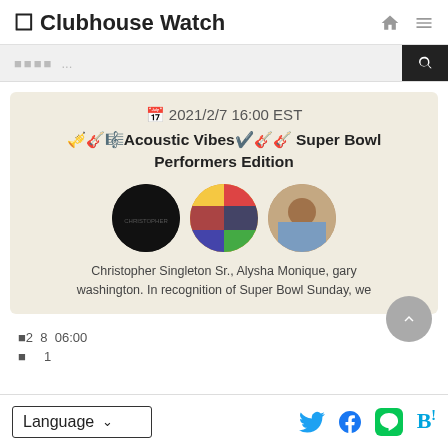🏠 Clubhouse Watch
🔲🔲🔲🔲 ...
[Figure (photo): Clubhouse event card with date 2021/2/7 16:00 EST, title Acoustic Vibes Super Bowl Performers Edition, three circular user avatars, and description text: Christopher Singleton Sr., Alysha Monique, gary washington. In recognition of Super Bowl Sunday, we]
🔲2  8  06:00
🔲     1
Language ∨  [Twitter] [Facebook] [Line] [Hatena Bookmark]